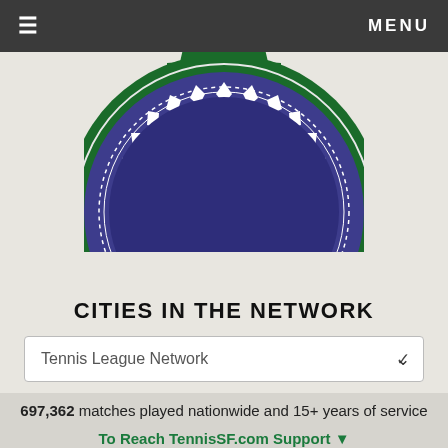≡   MENU
[Figure (logo): Partial view of a circular green and purple/blue seal or badge logo with decorative chevron/leaf pattern, cropped at the top of the page]
CITIES IN THE NETWORK
Tennis League Network
697,362 matches played nationwide and 15+ years of service
To Reach TennisSF.com Support ▼